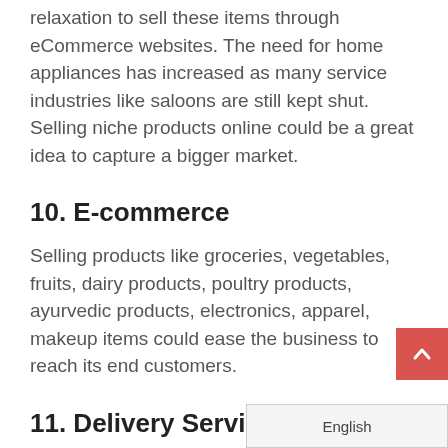relaxation to sell these items through eCommerce websites. The need for home appliances has increased as many service industries like saloons are still kept shut. Selling niche products online could be a great idea to capture a bigger market.
10. E-commerce
Selling products like groceries, vegetables, fruits, dairy products, poultry products, ayurvedic products, electronics, apparel, makeup items could ease the business to reach its end customers.
11. Delivery Service